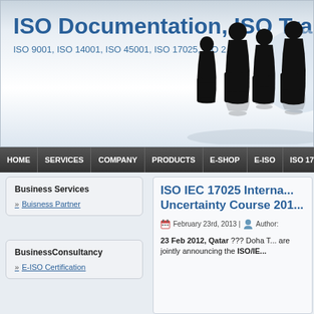ISO Documentation, ISO Tra
ISO 9001, ISO 14001, ISO 45001, ISO 17025, ISO 2...
[Figure (illustration): Silhouette group of business professionals in formal attire standing together, with globe in background]
HOME | SERVICES | COMPANY | PRODUCTS | E-SHOP | E-ISO | ISO 17...
Business Services
Buisness Partner
BusinessConsultancy
E-ISO Certification
ISO IEC 17025 Interna... Uncertainty Course 201...
February 23rd, 2013 | Author:
23 Feb 2012, Qatar ??? Doha T... are jointly announcing the ISO/IE...